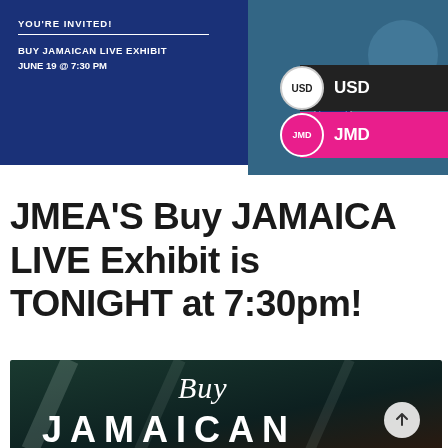[Figure (infographic): Blue invitation card for Buy Jamaican Live Exhibit on June 19 at 7:30 PM, alongside a photo of a hosted event with a person, and currency selector badges for USD and JMD]
JMEA'S Buy JAMAICA LIVE Exhibit is TONIGHT at 7:30pm!
[Figure (photo): Dark background promotional image with cursive 'Buy' text and large white block letters 'JAMAICAN' at the bottom]